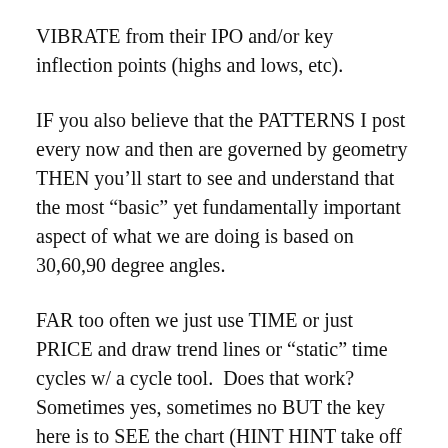VIBRATE from their IPO and/or key inflection points (highs and lows, etc).
IF you also believe that the PATTERNS I post every now and then are governed by geometry THEN you'll start to see and understand that the most “basic” yet fundamentally important aspect of what we are doing is based on 30,60,90 degree angles.
FAR too often we just use TIME or just PRICE and draw trend lines or “static” time cycles w/ a cycle tool.  Does that work? Sometimes yes, sometimes no BUT the key here is to SEE the chart (HINT HINT take off all the lagging indicator bullshit) and just look/study a chart based on PRICE and TIME.